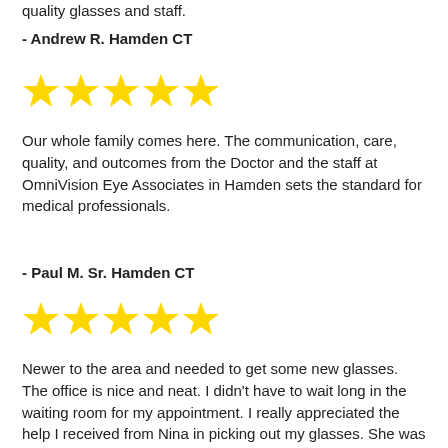quality glasses and staff.
- Andrew R. Hamden CT
[Figure (other): Five yellow stars rating]
Our whole family comes here. The communication, care, quality, and outcomes from the Doctor and the staff at OmniVision Eye Associates in Hamden sets the standard for medical professionals.
- Paul M. Sr. Hamden CT
[Figure (other): Five yellow stars rating]
Newer to the area and needed to get some new glasses. The office is nice and neat. I didn't have to wait long in the waiting room for my appointment. I really appreciated the help I received from Nina in picking out my glasses. She was definit...